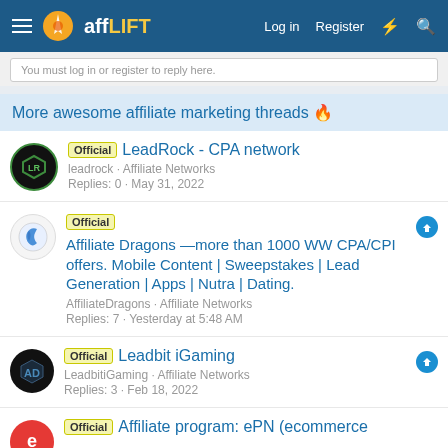[Figure (screenshot): affLIFT forum navigation bar with hamburger menu, logo, Log in, Register, and icon buttons]
You must log in or register to reply here.
More awesome affiliate marketing threads 🔥
Official  LeadRock - CPA network
leadrock · Affiliate Networks
Replies: 0 · May 31, 2022
Official  Affiliate Dragons —more than 1000 WW CPA/CPI offers. Mobile Content | Sweepstakes | Lead Generation | Apps | Nutra | Dating.
AffiliateDragons · Affiliate Networks
Replies: 7 · Yesterday at 5:48 AM
Official  Leadbit iGaming
LeadbitiGaming · Affiliate Networks
Replies: 3 · Feb 18, 2022
Official  Affiliate program: ePN (ecommerce